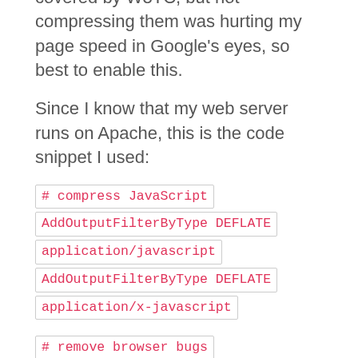covered by W3TC, but not compressing them was hurting my page speed in Google's eyes, so best to enable this.
Since I know that my web server runs on Apache, this is the code snippet I used:
# compress JavaScript
AddOutputFilterByType DEFLATE
application/javascript
AddOutputFilterByType DEFLATE
application/x-javascript
# remove browser bugs
BrowserMatch ^Mozilla/4 gzip-only-text/html
BrowserMatch ^Mozilla/4\.0[678] no-gzip
BrowserMatch \bMSIE !no-gzip !gzip-only-text/html
Header append Vary User-Agent
In the end, those were two easy quick